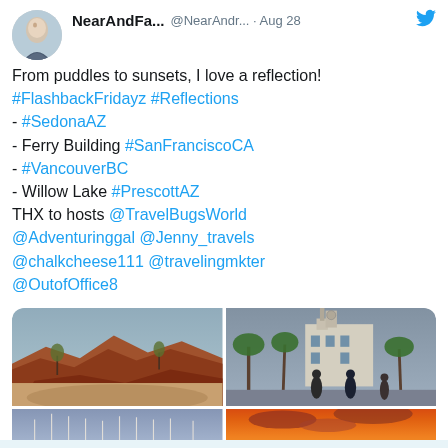NearAndFa... @NearAnd... · Aug 28
From puddles to sunsets, I love a reflection! #FlashbackFridayz #Reflections
- #SedonaAZ
- Ferry Building #SanFranciscoCA
- #VancouverBC
- Willow Lake #PrescottAZ
THX to hosts @TravelBugsWorld @Adventuringgal @Jenny_travels @chalkcheese111 @travelingmkter @OutofOffice8
[Figure (photo): Grid of four travel photos: top-left shows red rocks of Sedona AZ; top-right shows Ferry Building San Francisco with palm trees; bottom-left shows Vancouver BC marina with sailboats reflected in water; bottom-right shows Willow Lake Prescott AZ with orange sunset reflected in water.]
4 replies, 31 likes